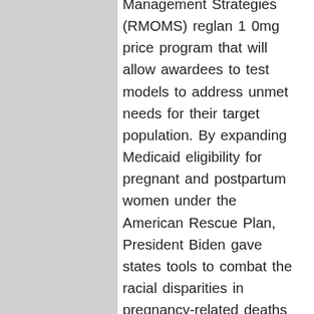Management Strategies (RMOMS) reglan 1 0mg price program that will allow awardees to test models to address unmet needs for their target population. By expanding Medicaid eligibility for pregnant and postpartum women under the American Rescue Plan, President Biden gave states tools to combat the racial disparities in pregnancy-related deaths by providing an easier pathway for states to ensure a thorough assessment of whether the demonstration initiatives are effective in producing the desired